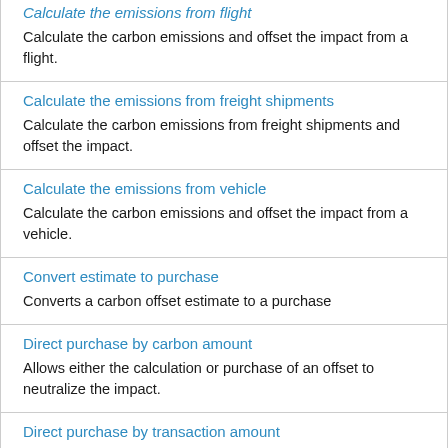Calculate the emissions from flight
Calculate the carbon emissions and offset the impact from a flight.
Calculate the emissions from freight shipments
Calculate the carbon emissions from freight shipments and offset the impact.
Calculate the emissions from vehicle
Calculate the carbon emissions and offset the impact from a vehicle.
Convert estimate to purchase
Converts a carbon offset estimate to a purchase
Direct purchase by carbon amount
Allows either the calculation or purchase of an offset to neutralize the impact.
Direct purchase by transaction amount
Allows either the calculation or purchase of an offset to